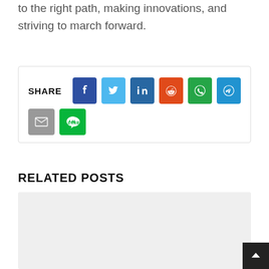to the right path, making innovations, and striving to march forward.
[Figure (infographic): Social share buttons row including Facebook, Twitter, LinkedIn, Reddit, WhatsApp, Telegram icons, and below that Email and LINE icons.]
RELATED POSTS
[Figure (photo): Light gray placeholder image for a related post.]